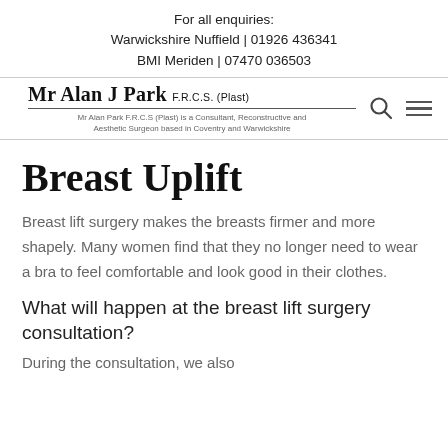For all enquiries:
Warwickshire Nuffield | 01926 436341
BMI Meriden | 07470 036503
[Figure (logo): Mr Alan J Park F.R.C.S. (Plast) logo with name, subtitle text, search icon and hamburger menu icon]
Breast Uplift
Breast lift surgery makes the breasts firmer and more shapely. Many women find that they no longer need to wear a bra to feel comfortable and look good in their clothes.
What will happen at the breast lift surgery consultation?
During the consultation, we also...